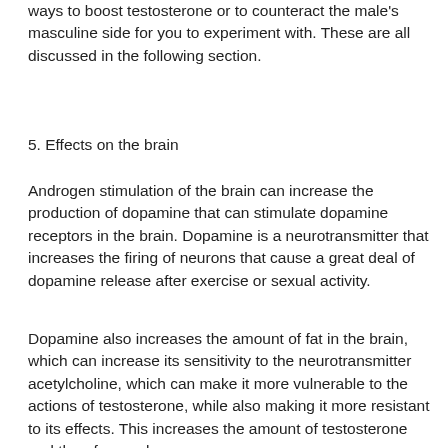ways to boost testosterone or to counteract the male's masculine side for you to experiment with. These are all discussed in the following section.
5. Effects on the brain
Androgen stimulation of the brain can increase the production of dopamine that can stimulate dopamine receptors in the brain. Dopamine is a neurotransmitter that increases the firing of neurons that cause a great deal of dopamine release after exercise or sexual activity.
Dopamine also increases the amount of fat in the brain, which can increase its sensitivity to the neurotransmitter acetylcholine, which can make it more vulnerable to the actions of testosterone, while also making it more resistant to its effects. This increases the amount of testosterone and therefore makes